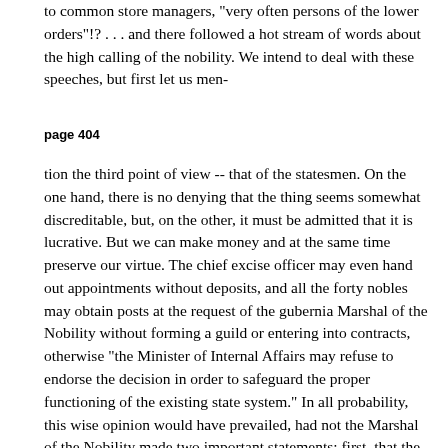to common store managers, "very often persons of the lower orders"!? . . . and there followed a hot stream of words about the high calling of the nobility. We intend to deal with these speeches, but first let us men-
page 404
tion the third point of view -- that of the statesmen. On the one hand, there is no denying that the thing seems somewhat discreditable, but, on the other, it must be admitted that it is lucrative. But we can make money and at the same time preserve our virtue. The chief excise officer may even hand out appointments without deposits, and all the forty nobles may obtain posts at the request of the gubernia Marshal of the Nobility without forming a guild or entering into contracts, otherwise "the Minister of Internal Affairs may refuse to endorse the decision in order to safeguard the proper functioning of the existing state system." In all probability, this wise opinion would have prevailed, had not the Marshal of the Nobility made two important statements: first, that the contract had already been submitted to the Council of the Ministry of Finance, which had recognised its feasibility and approved it in principle; and, secondly, that "it was impossible to obtain such posts merely at the request of the gubernia Marshal of the Nobility." The report was